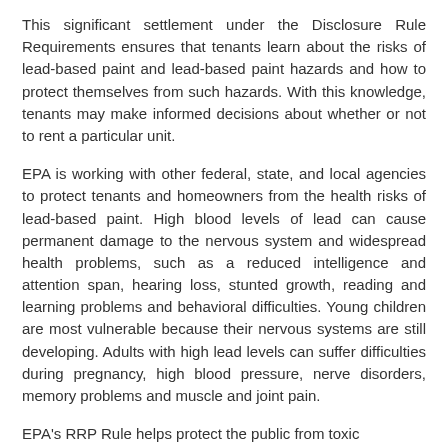This significant settlement under the Disclosure Rule Requirements ensures that tenants learn about the risks of lead-based paint and lead-based paint hazards and how to protect themselves from such hazards. With this knowledge, tenants may make informed decisions about whether or not to rent a particular unit.
EPA is working with other federal, state, and local agencies to protect tenants and homeowners from the health risks of lead-based paint. High blood levels of lead can cause permanent damage to the nervous system and widespread health problems, such as a reduced intelligence and attention span, hearing loss, stunted growth, reading and learning problems and behavioral difficulties. Young children are most vulnerable because their nervous systems are still developing. Adults with high lead levels can suffer difficulties during pregnancy, high blood pressure, nerve disorders, memory problems and muscle and joint pain.
EPA's RRP Rule helps protect the public from toxic